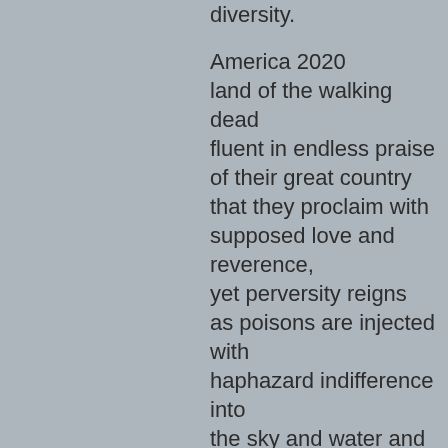diversity.

America 2020
land of the walking dead
fluent in endless praise
of their great country
that they proclaim with
supposed love and
reverence,
yet perversity reigns
as poisons are injected with
haphazard indifference into
the sky and water and soil,
as the automobile is held
sacred,
oil valued more that the
future,
science held suspect
and the health and safety
of the next generations
discarded like an old and